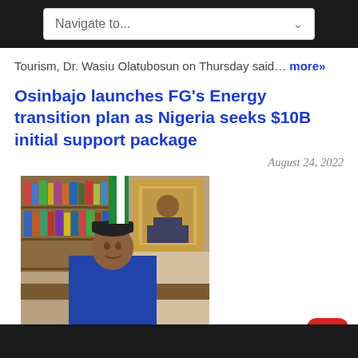Navigate to...
Tourism, Dr. Wasiu Olatubosun on Thursday said… more»
Osinbajo launches FG's Energy transition plan as Nigeria seeks $10B initial support package
August 24, 2022
[Figure (photo): A man in a blue traditional outfit and black cap seated at a desk, with bookshelves and a framed portrait in the background.]